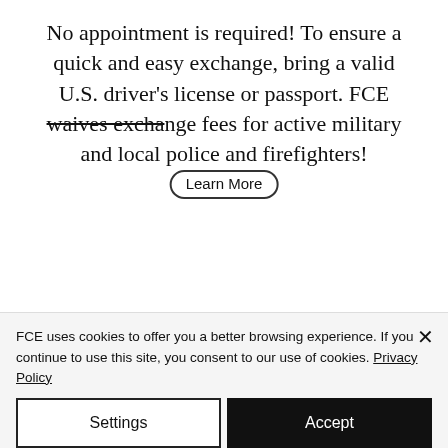No appointment is required! To ensure a quick and easy exchange, bring a valid U.S. driver's license or passport. FCE waives exchange fees for active military and local police and firefighters!
[Figure (other): A 'Learn More' button rendered as an oval/pill-shaped bubble overlaid on the strikethrough text 'waives exchange']
FCE uses cookies to offer you a better browsing experience. If you continue to use this site, you consent to our use of cookies. Privacy Policy